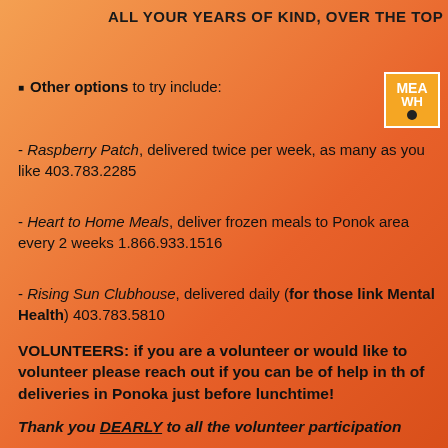ALL YOUR YEARS OF KIND, OVER THE TOP DEDICATION
[Figure (logo): Meals on Wheels logo with text MEA WH and a wheel/dot icon]
Other options to try include:
- Raspberry Patch, delivered twice per week, as many as you like 403.783.2285
- Heart to Home Meals, deliver frozen meals to Ponoka area every 2 weeks 1.866.933.1516
- Rising Sun Clubhouse, delivered daily (for those link Mental Health)  403.783.5810
VOLUNTEERS:  if you are a volunteer or would like to volunteer please reach out if you can be of help in the of deliveries in Ponoka just before lunchtime!
Thank you DEARLY to all the volunteer participation